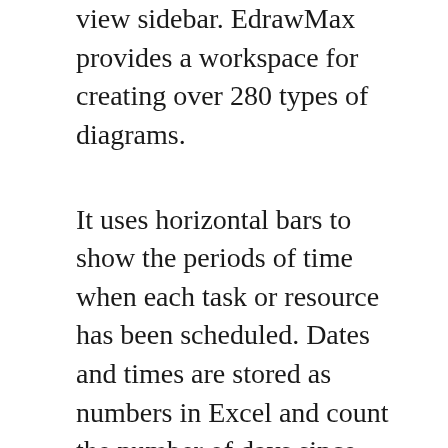view sidebar. EdrawMax provides a workspace for creating over 280 types of diagrams.
It uses horizontal bars to show the periods of time when each task or resource has been scheduled. Dates and times are stored as numbers in Excel and count the number of days since January 0 1900. Microsoft Project Gantt Chart Tutorial 1 Steps for using the Gantt Chart Wizard and Copy Picture Feature.
Add tasks and more in Gantt view. Gantt charts are one of the most common well-known project management tools for tracking individual project tasks resources remaining